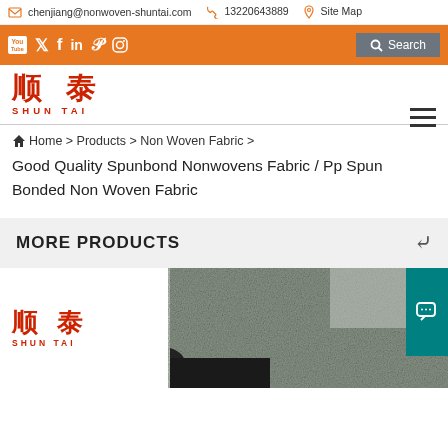chenjiang@nonwoven-shuntai.com  13220643889  Site Map
[Figure (logo): Orange social media navigation bar with YouTube, Twitter, Facebook, LinkedIn, Pinterest, Instagram icons and Search button]
[Figure (logo): Shun Tai logo with Chinese characters and SHUN TAI text in red]
Home > Products > Non Woven Fabric >
Good Quality Spunbond Nonwovens Fabric / Pp Spun Bonded Non Woven Fabric
MORE PRODUCTS
[Figure (photo): Close-up photo of grey spunbond nonwoven fabric texture with Shun Tai logo overlay on left and teal chat button on right]